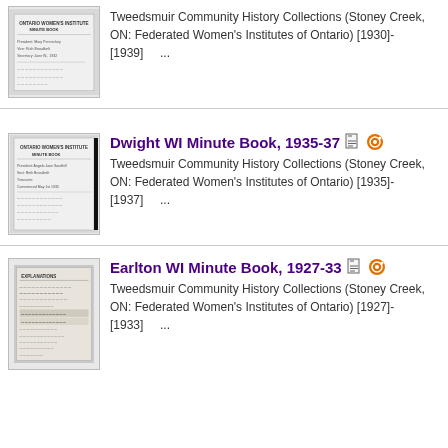[Figure (photo): Thumbnail of a handwritten WI minute book cover page, showing Ontario Women's Institute Minute Book header with handwritten text]
Tweedsmuir Community History Collections (Stoney Creek, ON: Federated Women's Institutes of Ontario) [1930]-[1939]    ...
[Figure (photo): Thumbnail of Ontario Women's Institute Minute Book cover with handwritten officers names and dates]
Dwight WI Minute Book, 1935-37
Tweedsmuir Community History Collections (Stoney Creek, ON: Federated Women's Institutes of Ontario) [1935]-[1937]    ...
[Figure (photo): Thumbnail of a document page with explanations and tabular content, appears to be a WI minute or record book]
Earlton WI Minute Book, 1927-33
Tweedsmuir Community History Collections (Stoney Creek, ON: Federated Women's Institutes of Ontario) [1927]-[1933]    ...